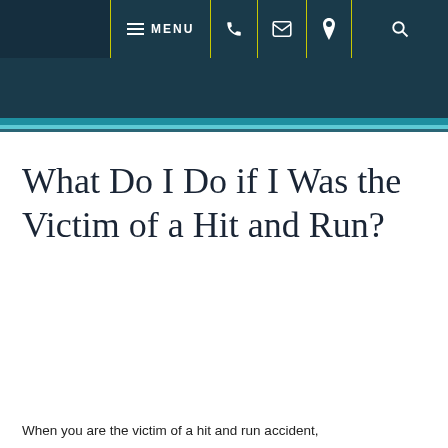[Figure (screenshot): Website navigation bar with dark teal background, showing hamburger MENU icon, phone icon, email icon, location pin icon, and search icon, separated by yellow-green dividers]
What Do I Do if I Was the Victim of a Hit and Run?
When you are the victim of a hit and run accident,